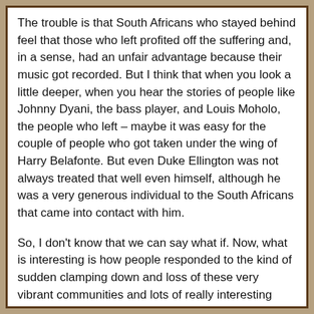The trouble is that South Africans who stayed behind feel that those who left profited off the suffering and, in a sense, had an unfair advantage because their music got recorded. But I think that when you look a little deeper, when you hear the stories of people like Johnny Dyani, the bass player, and Louis Moholo, the people who left – maybe it was easy for the couple of people who got taken under the wing of Harry Belafonte. But even Duke Ellington was not always treated that well even himself, although he was a very generous individual to the South Africans that came into contact with him.
So, I don't know that we can say what if. Now, what is interesting is how people responded to the kind of sudden clamping down and loss of these very vibrant communities and lots of really interesting